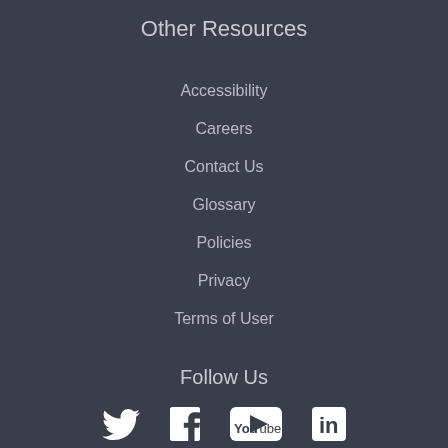Other Resources
Accessibility
Careers
Contact Us
Glossary
Policies
Privacy
Terms of User
Follow Us
[Figure (logo): Social media icons: Twitter bird, Facebook f, YouTube logo, LinkedIn in]